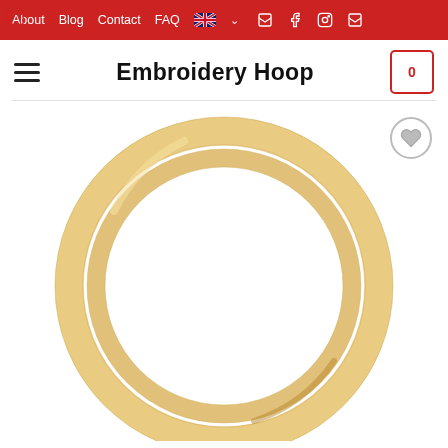About  Blog  Contact  FAQ
Embroidery Hoop
[Figure (photo): A round wooden embroidery hoop photographed on a white background, showing the natural wood grain and circular shape of two nested rings.]